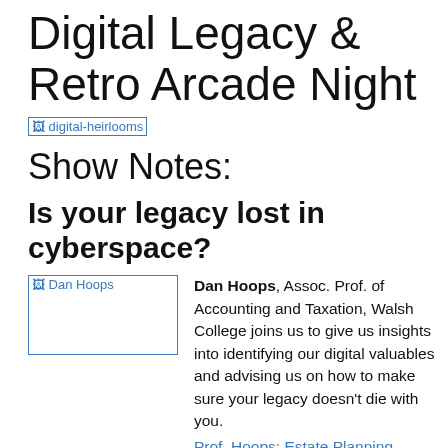Digital Legacy & Retro Arcade Night
[Figure (photo): Image placeholder for digital-heirlooms]
Show Notes:
Is your legacy lost in cyberspace?
[Figure (photo): Image placeholder for Dan Hoops]
Dan Hoops, Assoc. Prof. of Accounting and Taxation, Walsh College joins us to give us insights into identifying our digital valuables and advising us on how to make sure your legacy doesn't die with you.
Prof. Hoops: Estate Planning with Digital Assets